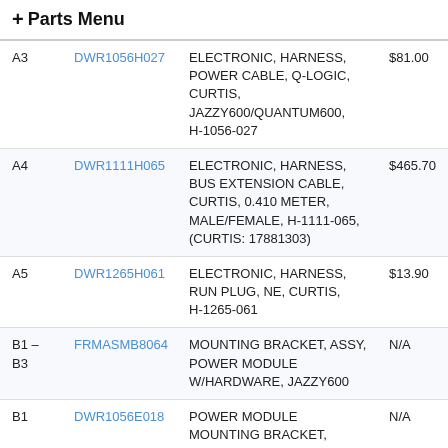+ Parts Menu
| Ref | Part | Description | Price |
| --- | --- | --- | --- |
| A3 | DWR1056H027 | ELECTRONIC, HARNESS, POWER CABLE, Q-LOGIC, CURTIS, JAZZY600/QUANTUM600, H-1056-027 | $81.00 |
| A4 | DWR1111H065 | ELECTRONIC, HARNESS, BUS EXTENSION CABLE, CURTIS, 0.410 METER, MALE/FEMALE, H-1111-065, (CURTIS: 17881303) | $465.70 |
| A5 | DWR1265H061 | ELECTRONIC, HARNESS, RUN PLUG, NE, CURTIS, H-1265-061 | $13.90 |
| B1 - B3 | FRMASMB8064 | MOUNTING BRACKET, ASSY, POWER MODULE W/HARDWARE, JAZZY600 | N/A |
| B1 | DWR1056E018 | POWER MODULE MOUNTING BRACKET, E-1056-018 | N/A |